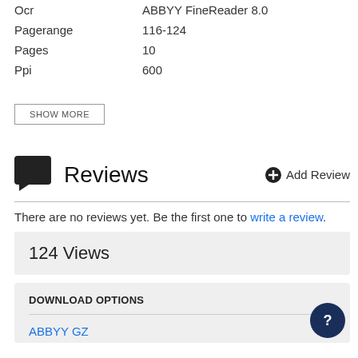| Ocr | ABBYY FineReader 8.0 |
| Pagerange | 116-124 |
| Pages | 10 |
| Ppi | 600 |
SHOW MORE
Reviews
Add Review
There are no reviews yet. Be the first one to write a review.
124 Views
DOWNLOAD OPTIONS
ABBYY GZ